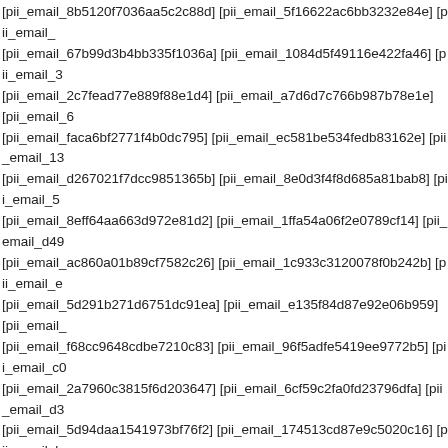[pii_email_8b5120f7036aa5c2c88d] [pii_email_5f16622ac6bb3232e84e] [pii_email_ [pii_email_67b99d3b4bb335f1036a] [pii_email_1084d5f49116e422fa46] [pii_email_3 [pii_email_2c7fead77e889f88e1d4] [pii_email_a7d6d7c766b987b78e1e] [pii_email_6 [pii_email_faca6bf2771f4b0dc795] [pii_email_ec581be534fedb83162e] [pii_email_13 [pii_email_d267021f7dcc9851365b] [pii_email_8e0d3f4f8d685a81bab8] [pii_email_5 [pii_email_8eff64aa663d972e81d2] [pii_email_1ffa54a06f2e0789cf14] [pii_email_d49 [pii_email_ac860a01b89cf7582c26] [pii_email_1c933c3120078f0b242b] [pii_email_e [pii_email_5d291b271d6751dc91ea] [pii_email_e135f84d87e92e06b959] [pii_email_ [pii_email_f68cc9648cdbe7210c83] [pii_email_96f5adfe5419ee9772b5] [pii_email_c0 [pii_email_2a7960c3815f6d203647] [pii_email_6cf59c2fa0fd23796dfa] [pii_email_d3 [pii_email_5d94daa1541973bf76f2] [pii_email_174513cd87e9c5020c16] [pii_email_b [pii_email_6ce73280db51bd9d4693] [pii_email_55ce5d2d85c8250d448c] [pii_email_ [pii_email_1ffe9424293a316afc1c] [pii_email_e6ecf0b96564bc143ac4] [pii_email_13 [pii_email_076e7b00787f32d92194] [pii_email_7d440c670a47f09c6133] [pii_email_f [pii_email_84e404b11620fb4c6ca5] [pii_email_029476ac04a40fcf8a82] [pii_email_a1 [pii_email_0a426e18f783af513005] [pii_email_0debfe55e7211cd4caba] [pii_email_a [pii_email_793551d2b50287424323] [pii_email_900ee3f1ee32226dde65] [pii_email_ [pii_email_93cc46ea4b26a92ca57a] [pii_email_3a51c33dd0543860d120] [pii_email_ [pii_email_61b41bb0d7f7072fe9d8] [pii_email_8faa92382e34679a900b] [pii_email_d [pii_email_ada3b63380c3896d9fb6] [pii_email_b5a2f4a9d3d54bc6add5] [pii_email_9 [pii_email_8aa4645a9e14635ea724] [pii_email_16660981d5cbefe438aa] [pii_email_ [pii_email_13924ea7d1dec9a70ded] [pii_email_40fff82026f4b9b99a08] [pii_email_d6 [pii_email_fbh103d5cb0149b7c7ee] [pii_email_d06a06f7128f1537096f] [pii_email_7